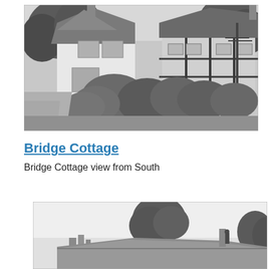[Figure (photo): Black and white photograph of Bridge Cottage viewed from the south, showing a white-painted cottage with tiled roofs, chimneys, lush garden bushes in front, trees in background, and a road to the left.]
Bridge Cottage
Bridge Cottage view from South
[Figure (photo): Black and white photograph showing a rooftop view of Bridge Cottage with a large tree behind, a chimney stack visible, and open sky in the background.]